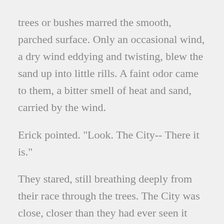trees or bushes marred the smooth, parched surface. Only an occasional wind, a dry wind eddying and twisting, blew the sand up into little rills. A faint odor came to them, a bitter smell of heat and sand, carried by the wind.
Erick pointed. "Look. The City-- There it is."
They stared, still breathing deeply from their race through the trees. The City was close, closer than they had ever seen it before. Never had they gotten so close to it in times past.